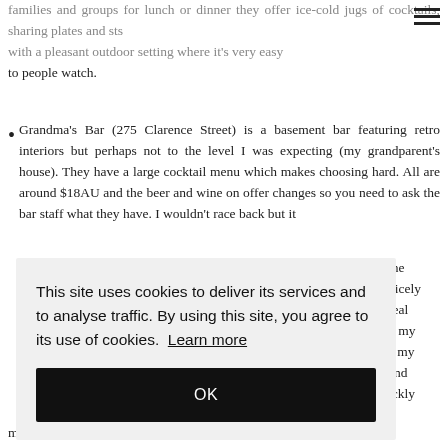families and groups for lunch or dinner they offer ice-cold jugs of cocktails, sharing plates and sts with a pleasant outdoor setting where it's very easy to people watch.
Grandma's Bar (275 Clarence Street) is a basement bar featuring retro interiors but perhaps not to the level I was expecting (my grandparent's house). They have a large cocktail menu which makes choosing hard. All are around $18AU and the beer and wine on offer changes so you need to ask the bar staff what they have. I wouldn't race back but it [cookie overlay text] the nicely real n my e my and ickly more than made up for it.
This site uses cookies to deliver its services and to analyse traffic. By using this site, you agree to its use of cookies. Learn more
OK
more than made up for it.